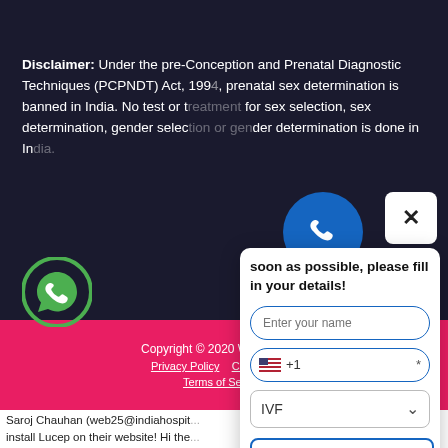Disclaimer: Under the pre-Conception and Prenatal Diagnostic Techniques (PCPNDT) Act, 1994, prenatal sex determination is banned in India. No test or treatment for sex selection, sex determination, gender selection or gender determination is done in India.
[Figure (illustration): WhatsApp green circle icon on dark background]
[Figure (illustration): Blue phone call circle button]
[Figure (screenshot): White close X button]
soon as possible, please fill in your details!
[Figure (screenshot): Contact form popup with name input, phone input (+1 US flag), IVF dropdown, Call Me back! button, and Message button]
Copyright © 2020 We Care IVF
Privacy Policy   Case Studies   Terms of Service
Saroj Chauhan (web25@indiahospital...) install Lucep on their website! Hi there, Lucep widget on their website, and You can simply copy and paste the s... footer of the site. The code you need to add is as follows: